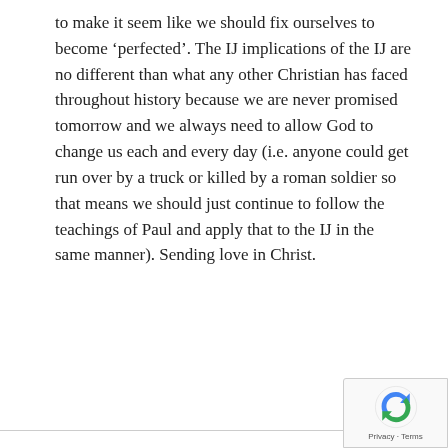to make it seem like we should fix ourselves to become 'perfected'. The IJ implications of the IJ are no different than what any other Christian has faced throughout history because we are never promised tomorrow and we always need to allow God to change us each and every day (i.e. anyone could get run over by a truck or killed by a roman soldier so that means we should just continue to follow the teachings of Paul and apply that to the IJ in the same manner). Sending love in Christ.
Dwayne V. Turner
04 May 2016 at 7:02 am
Ok, back at it...